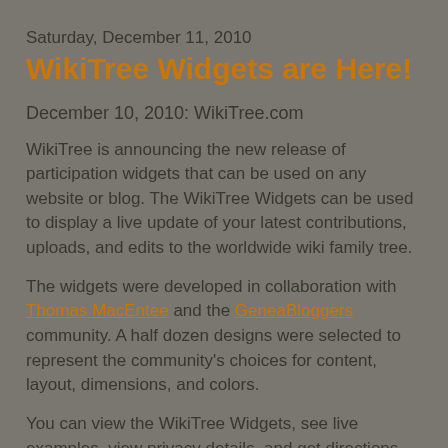Saturday, December 11, 2010
WikiTree Widgets are Here!
December 10, 2010: WikiTree.com
WikiTree is announcing the new release of participation widgets that can be used on any website or blog. The WikiTree Widgets can be used to display a live update of your latest contributions, uploads, and edits to the worldwide wiki family tree.
The widgets were developed in collaboration with Thomas MacEntee and the GeneaBloggers community. A half dozen designs were selected to represent the community's choices for content, layout, dimensions, and colors.
You can view the WikiTree Widgets, see live examples, view privacy details, and get directions for installing them on your blog or website at http://www.wikitree.com/articles/draft-